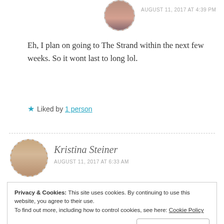[Figure (photo): Circular avatar photo of a person at top, with dashed circular border]
AUGUST 11, 2017 AT 4:39 PM
Eh, I plan on going to The Strand within the next few weeks. So it wont last to long lol.
★ Liked by 1 person
[Figure (photo): Circular avatar photo of Kristina Steiner, woman with blonde hair, dashed circular border]
Kristina Steiner
AUGUST 11, 2017 AT 6:33 AM
Privacy & Cookies: This site uses cookies. By continuing to use this website, you agree to their use.
To find out more, including how to control cookies, see here: Cookie Policy
Close and accept